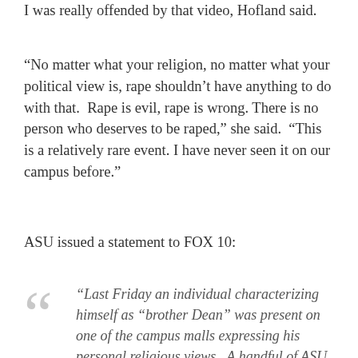I was really offended by that video, Hofland said.
“No matter what your religion, no matter what your political view is, rape shouldn’t have anything to do with that.  Rape is evil, rape is wrong. There is no person who deserves to be raped,” she said.  “This is a relatively rare event. I have never seen it on our campus before.”
ASU issued a statement to FOX 10:
“Last Friday an individual characterizing himself as “brother Dean” was present on one of the campus malls expressing his personal religious views.  A handful of ASU students expressed their personal disagreement with the statements that were being